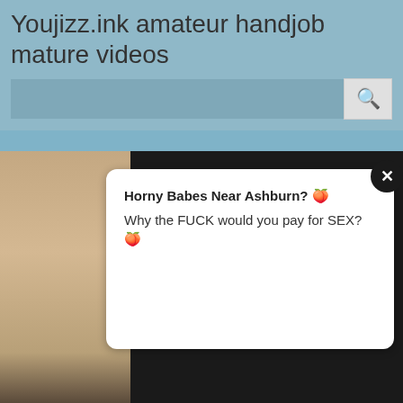Youjizz.ink amateur handjob mature videos
[Figure (screenshot): Search bar with input field and magnifying glass search button]
[Figure (screenshot): Website main content area with advertisement popup showing a photo and text]
Horny Babes Near Ashburn? 🍑 Why the FUCK would you pay for SEX? 🍑